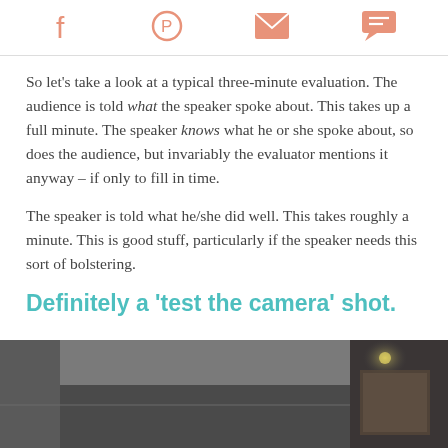Social share icons: Facebook, Pinterest, Email, Chat
So let’s take a look at a typical three-minute evaluation. The audience is told what the speaker spoke about. This takes up a full minute. The speaker knows what he or she spoke about, so does the audience, but invariably the evaluator mentions it anyway – if only to fill in time.
The speaker is told what he/she did well. This takes roughly a minute. This is good stuff, particularly if the speaker needs this sort of bolstering.
Definitely a 'test the camera' shot.
[Figure (photo): Dark, dimly lit interior room photo, apparently a test camera shot showing a ceiling and walls in low light.]